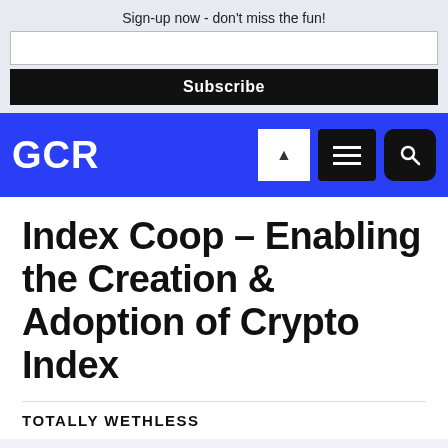Sign-up now - don't miss the fun!
Index Coop – Enabling the Creation & Adoption of Crypto Index
TOTALLY WETHLESS